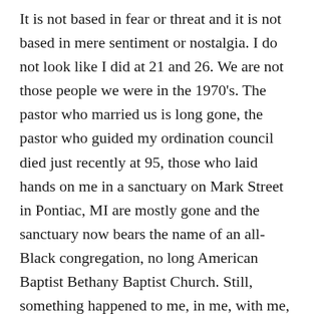It is not based in fear or threat and it is not based in mere sentiment or nostalgia. I do not look like I did at 21 and 26. We are not those people we were in the 1970's. The pastor who married us is long gone, the pastor who guided my ordination council died just recently at 95, those who laid hands on me in a sanctuary on Mark Street in Pontiac, MI are mostly gone and the sanctuary now bears the name of an all-Black congregation, no long American Baptist Bethany Baptist Church. Still, something happened to me, in me, with me, around me, with her and with them and I cannot change the story. I married Wendy Lee McJunkin. I cannot erase that reality. It marks me in ways that brings grace and delight and scars and sadness and the deepest possible fulfillment. I took the vows of ordination as an American Baptist clergy. I cannot erase that reality. I no